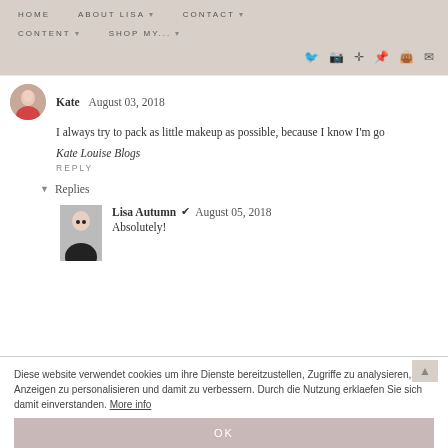HOME   ABOUT LISA   CONTACT   CONTENT   SHOP MY...
Kate  August 03, 2018
I always try to pack as little makeup as possible, because I know I'm go
Kate Louise Blogs
REPLY
▼ Replies
Lisa Autumn ✔ August 05, 2018
Absolutely!
Diese website verwendet cookies um ihre Dienste bereitzustellen, Zugriffe zu analysieren, Anzeigen zu personalisieren und damit zu verbessern. Durch die Nutzung erklaefen Sie sich damit einverstanden. More info
OK